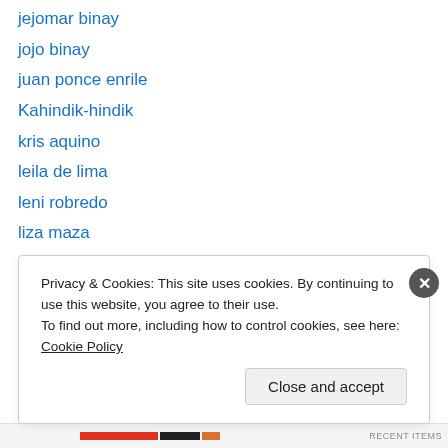jejomar binay
jojo binay
juan ponce enrile
Kahindik-hindik
kris aquino
leila de lima
leni robredo
liza maza
loren legarda
loren legarda ads
manila hostage
Manny Pacquiao
manny villar
Privacy & Cookies: This site uses cookies. By continuing to use this website, you agree to their use. To find out more, including how to control cookies, see here: Cookie Policy
Close and accept